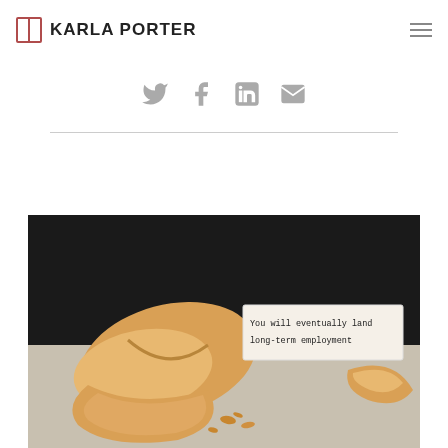KARLA PORTER
[Figure (illustration): Social media share icons: Twitter (bird), Facebook (f), LinkedIn (in), Email (envelope) in a horizontal row, gray colored]
[Figure (photo): A broken fortune cookie on a gray surface. A paper slip reads 'You will eventually land long-term employment' in monospace typewriter font.]